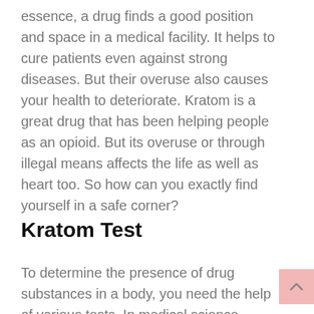essence, a drug finds a good position and space in a medical facility. It helps to cure patients even against strong diseases. But their overuse also causes your health to deteriorate. Kratom is a great drug that has been helping people as an opioid. But its overuse or through illegal means affects the life as well as heart too. So how can you exactly find yourself in a safe corner?
Kratom Test
To determine the presence of drug substances in a body, you need the help of various tests. In medical science, there are different drug tests for this purpose. However, they differ in the substances they